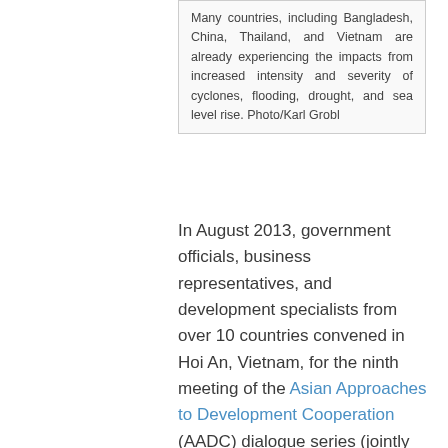Many countries, including Bangladesh, China, Thailand, and Vietnam are already experiencing the impacts from increased intensity and severity of cyclones, flooding, drought, and sea level rise. Photo/Karl Grobl
In August 2013, government officials, business representatives, and development specialists from over 10 countries convened in Hoi An, Vietnam, for the ninth meeting of the Asian Approaches to Development Cooperation (AADC) dialogue series (jointly hosted by the Korean Development Institute, the Institute for Strategy and Policy on Natural Resources and Environment, Vietnam, and The Asia Foundation) to discuss climate change adaptation and disaster resilience approaches in the